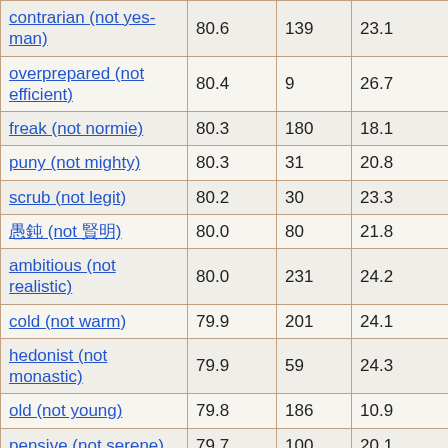| contrarian (not yes-man) | 80.6 | 139 | 23.1 | 56 |
| overprepared (not efficient) | 80.4 | 9 | 26.7 | 48 |
| freak (not normie) | 80.3 | 180 | 18.1 | 51 |
| puny (not mighty) | 80.3 | 31 | 20.8 | 56 |
| scrub (not legit) | 80.2 | 30 | 23.3 | 70 |
| 愚鈍 (not 聡明) | 80.0 | 80 | 21.8 | 44 |
| ambitious (not realistic) | 80.0 | 231 | 24.2 | 51 |
| cold (not warm) | 79.9 | 201 | 24.1 | 55 |
| hedonist (not monastic) | 79.9 | 59 | 24.3 | 32 |
| old (not young) | 79.8 | 186 | 10.9 | 47 |
| pensive (not serene) | 79.7 | 100 | 20.1 | 48 |
| interrupting (not …) | 79.7 | 176 | 26.1 | 53 |